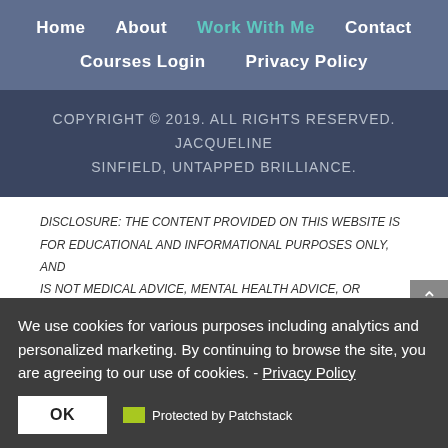Home  About  Work With Me  Contact  Courses Login  Privacy Policy
COPYRIGHT © 2019. ALL RIGHTS RESERVED. JACQUELINE SINFIELD, UNTAPPED BRILLIANCE.
DISCLOSURE: THE CONTENT PROVIDED ON THIS WEBSITE IS FOR EDUCATIONAL AND INFORMATIONAL PURPOSES ONLY, AND IS NOT MEDICAL ADVICE, MENTAL HEALTH ADVICE, OR THERAPY. IF YOU ARE HAVING A MEDICAL OR MENTAL HEALTH PROBLEM, PLEASE SEEK APPROPRIATE HELP FROM AN APPROPRIATELY QUALIFIED HEALTH CARE PROVIDER. IF YOU ARE IN A MEDICAL OR MENTAL HEALTH EMERGENCY, PLEASE CALL 911 OR YOUR LOCAL EMERGENCY NUMBER, OR GO TO YOUR NEAREST EMERGENCY ROOM.
We use cookies for various purposes including analytics and personalized marketing. By continuing to browse the site, you are agreeing to our use of cookies. - Privacy Policy
OK
Protected by Patchstack